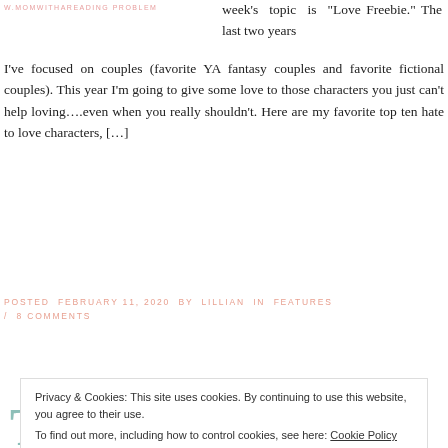W.MOMWITHAREADING PROBLEM
week's topic is "Love Freebie." The last two years I've focused on couples (favorite YA fantasy couples and favorite fictional couples). This year I'm going to give some love to those characters you just can't help loving….even when you really shouldn't. Here are my favorite top ten hate to love characters, […]
POSTED FEBRUARY 11, 2020 BY LILLIAN IN FEATURES / 8 COMMENTS
Read More »
Privacy & Cookies: This site uses cookies. By continuing to use this website, you agree to their use.
To find out more, including how to control cookies, see here: Cookie Policy
Close and accept
TUESDAY favorites